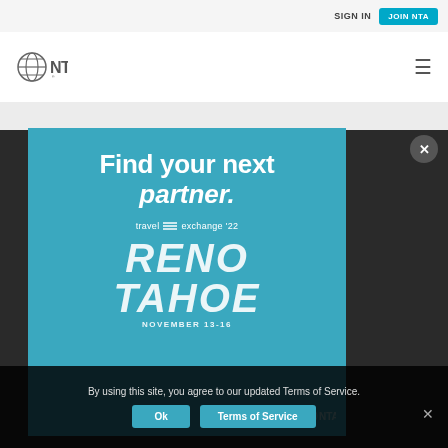SIGN IN | JOIN NTA
[Figure (logo): NTA logo with globe icon and text NTA]
[Figure (illustration): Modal advertisement: Find your next partner. travel exchange '22. RENO TAHOE. NOVEMBER 13-16. NTA logo.]
By using this site, you agree to our updated Terms of Service.
Ok   Terms of Service